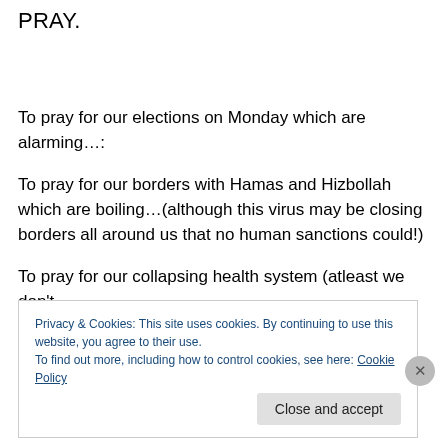PRAY.
To pray for our elections on Monday which are alarming…:
To pray for our borders with Hamas and Hizbollah which are boiling…(although this virus may be closing borders all around us that no human sanctions could!)
To pray for our collapsing health system (atleast we don't
Privacy & Cookies: This site uses cookies. By continuing to use this website, you agree to their use.
To find out more, including how to control cookies, see here: Cookie Policy
Close and accept